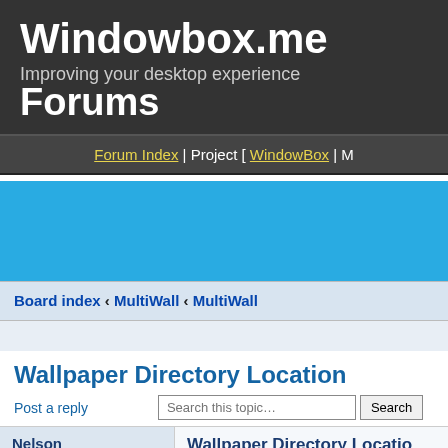Windowbox.me
Improving your desktop experience
Forums
Forum Index | Project [ WindowBox | M…
[Figure (other): Blue advertisement banner area]
Board index ‹ MultiWall ‹ MultiWall
Wallpaper Directory Location
Post a reply
Search this topic… Search
Nelson
Posts: 1
Joined: Thu Jun 25, 2020 3:21 am
Wallpaper Directory Location
by Nelson on Thu Jun 25, 2020 4:09 am